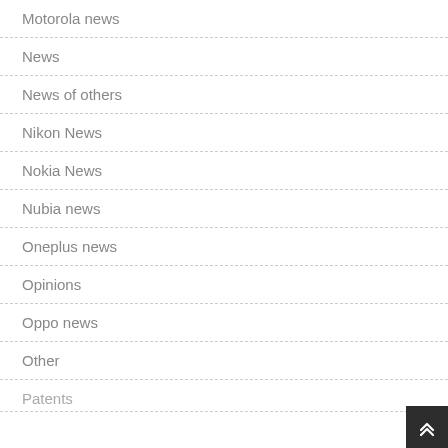Motorola news
News
News of others
Nikon News
Nokia News
Nubia news
Oneplus news
Opinions
Oppo news
Other
Patents